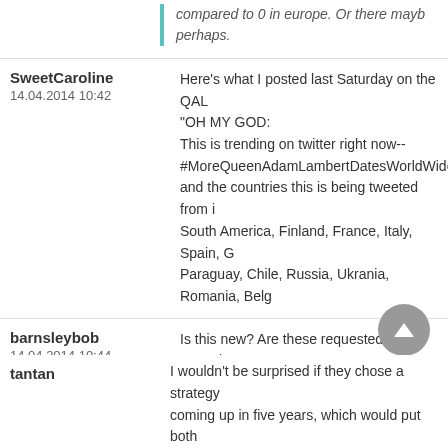compared to 0 in europe. Or there mayb perhaps.
SweetCaroline
14.04.2014 10:42
Here's what I posted last Saturday on the QAL "OH MY GOD: This is trending on twitter right now-- #MoreQueenAdamLambertDatesWorldWide and the countries this is being tweeted from i South America, Finland, France, Italy, Spain, G Paraguay, Chile, Russia, Ukrania, Romania, Bel
barnsleybob
14.04.2014 10:44
Is this new? Are these requested countries or
barnsleybob wrote: I didn't see it no. I'll n and would need to be spread over a long compared to 0 in europe. Or there mayb perhaps.
I wouldn't be surprised if they chose a strategy coming up in five years, which would put both
tantan